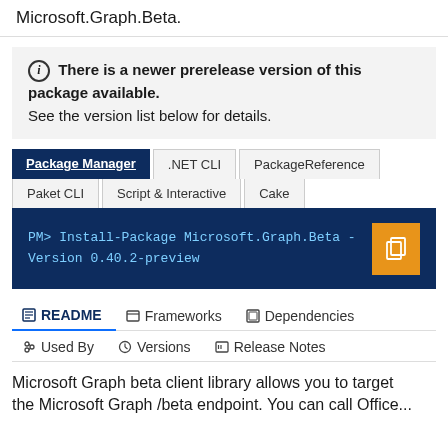Microsoft.Graph.Beta.
ⓘ There is a newer prerelease version of this package available.
See the version list below for details.
Package Manager | .NET CLI | PackageReference | Paket CLI | Script & Interactive | Cake
PM> Install-Package Microsoft.Graph.Beta -Version 0.40.2-preview
README | Frameworks | Dependencies | Used By | Versions | Release Notes
Microsoft Graph beta client library allows you to target the Microsoft Graph /beta endpoint. You can call Office...